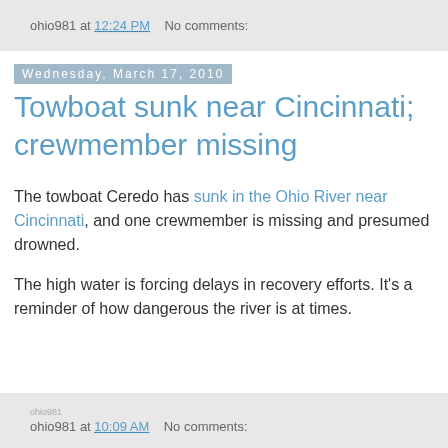ohio981 at 12:24 PM   No comments:
Wednesday, March 17, 2010
Towboat sunk near Cincinnati; crewmember missing
The towboat Ceredo has sunk in the Ohio River near Cincinnati, and one crewmember is missing and presumed drowned.
The high water is forcing delays in recovery efforts. It's a reminder of how dangerous the river is at times.
ohio981 at 10:09 AM   No comments: